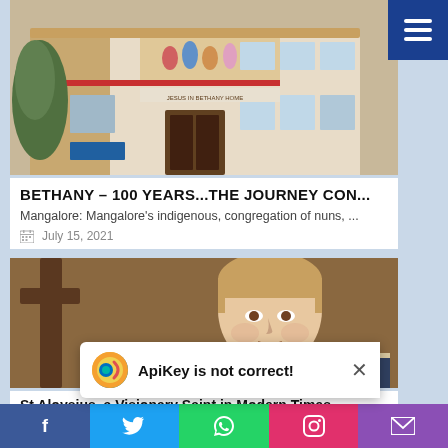[Figure (photo): Photo of Bethany House building exterior with mural above entrance]
BETHANY – 100 YEARS...THE JOURNEY CON...
Mangalore: Mangalore's indigenous, congregation of nuns, ...
July 15, 2021
[Figure (photo): Painting of St Aloysius, a young man praying with hands clasped near a cross]
St Aloysius, a Visionary Saint in Modern Times
image source: internet St Alo
ApiKey is not correct! ×